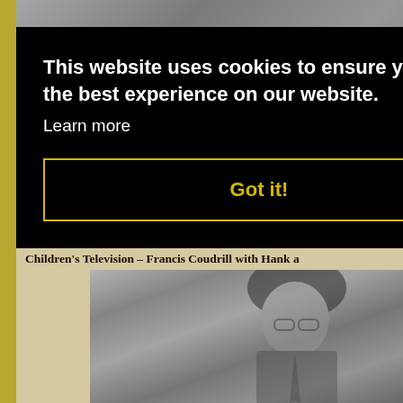[Figure (photo): Black and white photograph partially visible at top of page, showing a person in a plaid/checkered shirt]
This website uses cookies to ensure you get the best experience on our website.
Learn more
Got it!
Children's Television – Francis Coudrill with Hank a
[Figure (photo): Black and white photograph of a man (Francis Coudrill) wearing glasses and a suit with tie, standing in front of what appears to be a set with circular/dot decorations]